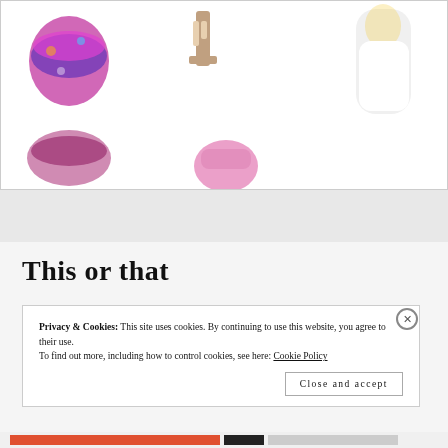[Figure (photo): Collage of summer fashion items including bikini tops, bikini bottoms, a white one-piece swimsuit, heeled sandals, floral kimono, white tops, light blue shorts, denim shorts, white shorts, tan sandals, and wedge heels on a white background.]
This or that
Privacy & Cookies: This site uses cookies. By continuing to use this website, you agree to their use.
To find out more, including how to control cookies, see here: Cookie Policy

Close and accept